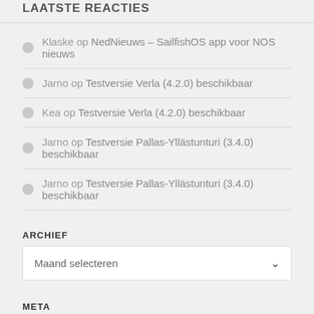LAATSTE REACTIES
Klaske op NedNieuws – SailfishOS app voor NOS nieuws
Jarno op Testversie Verla (4.2.0) beschikbaar
Kea op Testversie Verla (4.2.0) beschikbaar
Jarno op Testversie Pallas-Yllästunturi (3.4.0) beschikbaar
Jarno op Testversie Pallas-Yllästunturi (3.4.0) beschikbaar
ARCHIEF
Maand selecteren
META
Inloggen